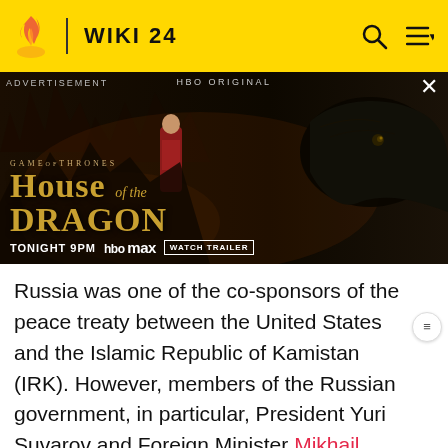WIKI 24
[Figure (photo): HBO Original advertisement banner for House of the Dragon (Game of Thrones), showing a woman in red dress and a dragon in dark fantasy setting. Text: TONIGHT 9PM | HBO max | WATCH TRAILER]
Russia was one of the co-sponsors of the peace treaty between the United States and the Islamic Republic of Kamistan (IRK). However, members of the Russian government, in particular, President Yuri Suvarov and Foreign Minister Mikhail Novakovich, were privately against the peace treaty, because as stated by US President Allison Taylor, the treaty would diminish Russian influence in the region. Russia secretly supplied a powerful IRK rebel group with nuclear fuel rods to